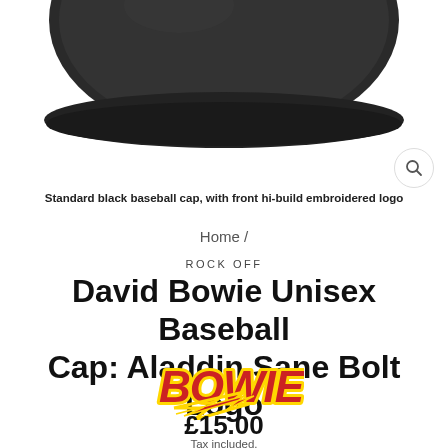[Figure (photo): Partial view of a black baseball cap from below/side angle, showing the dark cap brim and fabric]
Standard black baseball cap, with front hi-build embroidered logo
Home /
ROCK OFF
David Bowie Unisex Baseball Cap: Aladdin Sane Bolt Logo
[Figure (logo): Bowie logo in red and yellow stylized lettering with lightning bolt]
£15.00
Tax included.